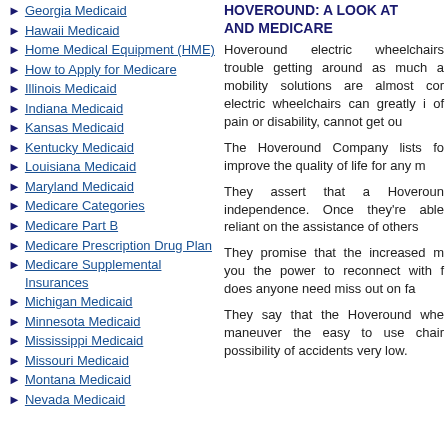Georgia Medicaid
Hawaii Medicaid
Home Medical Equipment (HME)
How to Apply for Medicare
Illinois Medicaid
Indiana Medicaid
Kansas Medicaid
Kentucky Medicaid
Louisiana Medicaid
Maryland Medicaid
Medicare Categories
Medicare Part B
Medicare Prescription Drug Plan
Medicare Supplemental Insurances
Michigan Medicaid
Minnesota Medicaid
Mississippi Medicaid
Missouri Medicaid
Montana Medicaid
Nevada Medicaid
HOVEROUND: A LOOK AT AND MEDICARE
Hoveround electric wheelchairs trouble getting around as much a mobility solutions are almost cor electric wheelchairs can greatly i of pain or disability, cannot get ou
The Hoveround Company lists fo improve the quality of life for any
They assert that a Hoveroun independence. Once they're able reliant on the assistance of others
They promise that the increased m you the power to reconnect with f does anyone need miss out on fa
They say that the Hoveround whe maneuver the easy to use chair possibility of accidents very low.